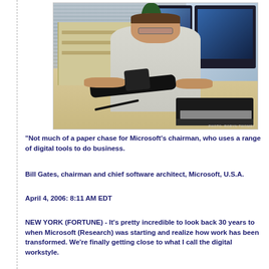[Figure (photo): Bill Gates seated at a desk holding a tablet/handheld device, with computers/monitors on the desk, plant and window blinds in the background. Photo credit: PHOTO: ROBYN TWOMEY]
"Not much of a paper chase for Microsoft's chairman, who uses a range of digital tools to do business.
Bill Gates, chairman and chief software architect, Microsoft, U.S.A.
April 4, 2006: 8:11 AM EDT
NEW YORK (FORTUNE) - It's pretty incredible to look back 30 years to when Microsoft (Research) was starting and realize how work has been transformed. We're finally getting close to what I call the digital workstyle.